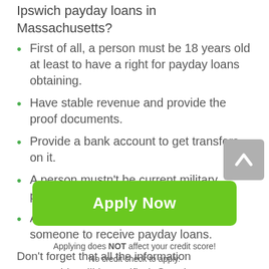Ipswich payday loans in Massachusetts?
First of all, a person must be 18 years old at least to have a right for payday loans obtaining.
Have stable revenue and provide the proof documents.
Provide a bank account to get transfers on it.
A person mustn't be current military personnel.
A person mustn't be dependent on someone to receive payday loans.
Don't forget that all the information you provide will be verified. So, give only valid data not to have any problems with payday loans obtaining. Remember that most of the
Apply Now
Applying does NOT affect your credit score!
No credit check to apply.